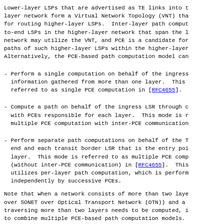Lower-layer LSPs that are advertised as TE links into the higher-layer network form a Virtual Network Topology (VNT) that can be used for routing higher-layer LSPs.  Inter-layer path computation for end-to-end LSPs in the higher-layer network that span the lower-layer network may utilize the VNT, and PCE is a candidate for computing the paths of such higher-layer LSPs within the higher-layer network. Alternatively, the PCE-based path computation model can
- Perform a single computation on behalf of the ingress LSR using information gathered from more than one layer.  This is referred to as single PCE computation in [RFC4655].
- Compute a path on behalf of the ingress LSR through cooperation with PCEs responsible for each layer.  This mode is referred to as multiple PCE computation with inter-PCE communication
- Perform separate path computations on behalf of the TE tunnel end and each transit border LSR that is the entry point to a layer.  This mode is referred to as multiple PCE computation (without inter-PCE communication) in [RFC4655].  This mode utilizes per-layer path computation, which is performed independently by successive PCEs.
Note that when a network consists of more than two layers (e.g., IP over SONET over Optical Transport Network (OTN)) and a path traversing more than two layers needs to be computed, it is possible to combine multiple PCE-based path computation models.  For example, the single PCE computation model could be used for computation across the SONET layer and the OTN layer, and the multi